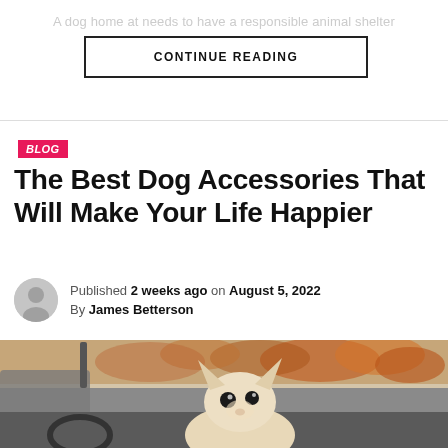A dog home at needs to have a responsible animal shelter
CONTINUE READING
BLOG
The Best Dog Accessories That Will Make Your Life Happier
Published 2 weeks ago on August 5, 2022
By James Betterson
[Figure (photo): A chihuahua dog sitting inside a car, looking toward the camera, with autumn foliage visible through the car window in the background.]